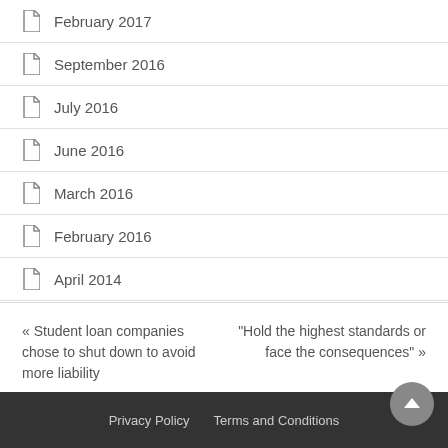February 2017
September 2016
July 2016
June 2016
March 2016
February 2016
April 2014
« Student loan companies chose to shut down to avoid more liability
"Hold the highest standards or face the consequences" »
Privacy Policy   Terms and Conditions